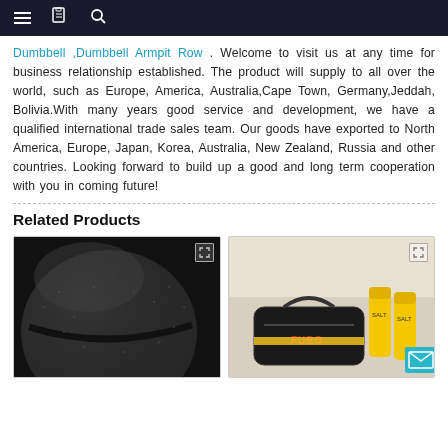Navigation bar with hamburger menu, document icon, and search icon
Dumbbell ,Dumbbell Armpit Row . Welcome to visit us at any time for business relationship established. The product will supply to all over the world, such as Europe, America, Australia,Cape Town, Germany,Jeddah, Bolivia.With many years good service and development, we have a qualified international trade sales team. Our goods have exported to North America, Europe, Japan, Korea, Australia, New Zealand, Russia and other countries. Looking forward to build up a good and long term cooperation with you in coming future!
Related Products
[Figure (photo): Close-up photo of a dark/black textured slam ball or medicine ball against dark background]
[Figure (photo): Photo of fitness/gym bag in black and yellow with tubes or accessories, with a teal mail button in the bottom right corner]